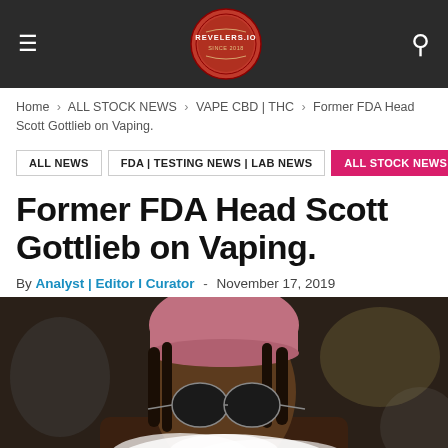REVELERS.IO
Home > ALL STOCK NEWS > VAPE CBD | THC > Former FDA Head Scott Gottlieb on Vaping.
ALL NEWS
FDA | TESTING NEWS | LAB NEWS
ALL STOCK NEWS
Former FDA Head Scott Gottlieb on Vaping.
By Analyst | Editor I Curator - November 17, 2019
[Figure (photo): Person wearing a pink knit beanie and round sunglasses exhaling a large cloud of vapor/smoke, photographed close-up outdoors with a blurred urban background.]